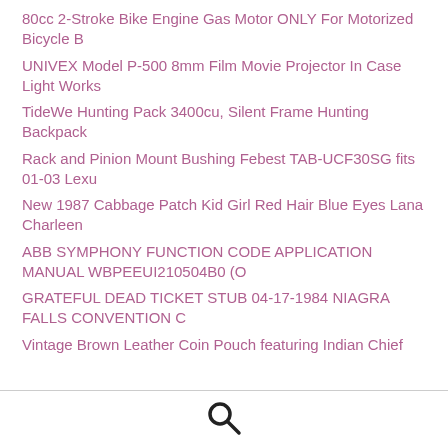80cc 2-Stroke Bike Engine Gas Motor ONLY For Motorized Bicycle B
UNIVEX Model P-500 8mm Film Movie Projector In Case Light Works
TideWe Hunting Pack 3400cu, Silent Frame Hunting Backpack
Rack and Pinion Mount Bushing Febest TAB-UCF30SG fits 01-03 Lexu
New 1987 Cabbage Patch Kid Girl Red Hair Blue Eyes Lana Charleen
ABB SYMPHONY FUNCTION CODE APPLICATION MANUAL WBPEEUI210504B0 (O
GRATEFUL DEAD TICKET STUB 04-17-1984 NIAGRA FALLS CONVENTION C
Vintage Brown Leather Coin Pouch featuring Indian Chief
[Figure (other): Search magnifying glass icon]